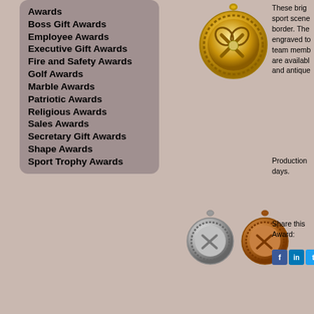Awards
Boss Gift Awards
Employee Awards
Executive Gift Awards
Fire and Safety Awards
Golf Awards
Marble Awards
Patriotic Awards
Religious Awards
Sales Awards
Secretary Gift Awards
Shape Awards
Sport Trophy Awards
[Figure (photo): Gold tennis medal with crossed rackets design]
[Figure (photo): Silver tennis medal]
[Figure (photo): Bronze tennis medal]
These bright sport scene border. The engraved to team memb are available and antique
Production days.
Share this Award:
| Prod # | Description |
| --- | --- |
| JBL217B | 2" diameter |
| JBL217G | 2" diameter |
| JBL217S | 2" diameter |
[Figure (photo): Diamond plaque with tennis racket and yellow ball]
Diamond P
A large full flying off th diamond re comes with screwed in award a fe